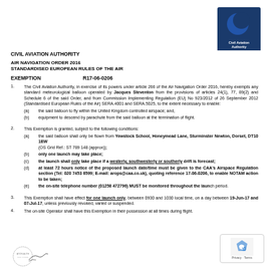[Figure (logo): Civil Aviation Authority logo — dark blue circle with white crescent moon shape, text 'Civil Aviation Authority' below on blue background]
CIVIL AVIATION AUTHORITY
AIR NAVIGATION ORDER 2016
STANDARDISED EUROPEAN RULES OF THE AIR
EXEMPTION          R17-06-0206
1. The Civil Aviation Authority, in exercise of its powers under article 266 of the Air Navigation Order 2016, hereby exempts any standard meteorological balloon operated by Jacques Steventon from the provisions of articles 24(1), 77, 89(2) and Schedule 6 of the said Order, and from Commission Implementing Regulation (EU) No 923/2012 of 26 September 2012 (Standardised European Rules of the Air) SERA.4001 and SERA.5025, to the extent necessary to enable:
(a) the said balloon to fly within the United Kingdom controlled airspace; and,
(b) equipment to descend by parachute from the said balloon at the termination of flight.
2. This Exemption is granted, subject to the following conditions:
(a) the said balloon shall only be flown from Yewstock School, Honeymead Lane, Sturminster Newton, Dorset, DT10 1EW (OS Grid Ref.: ST 789 148 (approx));
(b) only one launch may take place;
(c) the launch shall only take place if a westerly, southwesterly or southerly drift is forecast;
(d) at least 72 hours notice of the proposed launch date/time must be given to the CAA's Airspace Regulation section (Tel: 020 7453 6599; E-mail: arops@caa.co.uk), quoting reference 17-06-0206, to enable NOTAM action to be taken;
(e) the on-site telephone number (01258 472796) MUST be monitored throughout the launch period.
3. This Exemption shall have effect for one launch only, between 0930 and 1030 local time, on a day between 19-Jun-17 and 07-Jul-17, unless previously revoked, varied or suspended.
4. The on-site Operator shall have this Exemption in their possession at all times during flight.
[Figure (other): Partial signature / stamp of Civil Aviation Authority official]